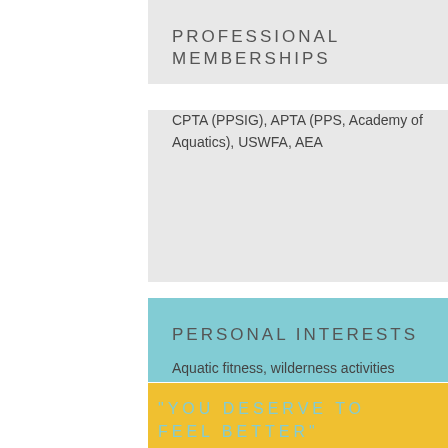PROFESSIONAL MEMBERSHIPS
CPTA (PPSIG), APTA (PPS, Academy of Aquatics), USWFA, AEA
PERSONAL INTERESTS
Aquatic fitness, wilderness activities (hiking, backpacking, fly fishing, foraging, kayaking), performing arts (dance performance and education, theater, singing, choreography, stage directing), nutrition and cooking, sustainable organic gardening, wilderness and environmental conservation, business
"YOU DESERVE TO FEEL BETTER"